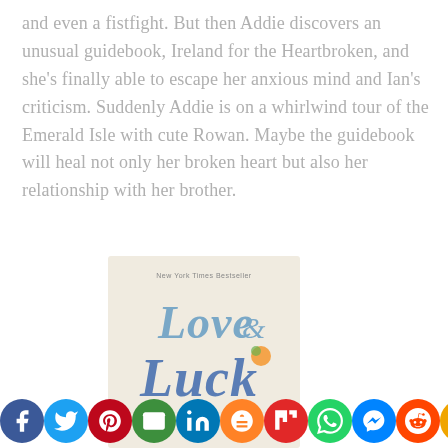and even a fistfight. But then Addie discovers an unusual guidebook, Ireland for the Heartbroken, and she's finally able to escape her anxious mind and Ian's criticism. Suddenly Addie is on a whirlwind tour of the Emerald Isle with cute Rowan. Maybe the guidebook will heal not only her broken heart but also her relationship with her brother.
[Figure (illustration): Book cover for 'Love & Luck', labeled as New York Times Bestseller, with stylized hand-lettered title text in blue on a light background]